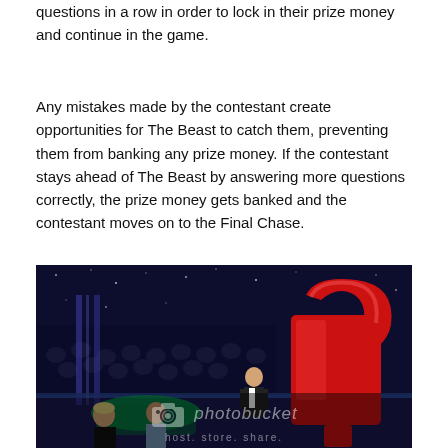questions in a row in order to lock in their prize money and continue in the game.
Any mistakes made by the contestant create opportunities for The Beast to catch them, preventing them from banking any prize money. If the contestant stays ahead of The Beast by answering more questions correctly, the prize money gets banked and the contestant moves on to the Final Chase.
[Figure (photo): Game show set photo showing a host standing at a podium, two contestants visible in the foreground, with a large glowing red question mark prop on stage and a blue starry background. A Photobucket watermark with camera icon and 'host. store. share.' text is overlaid on the bottom half of the image.]